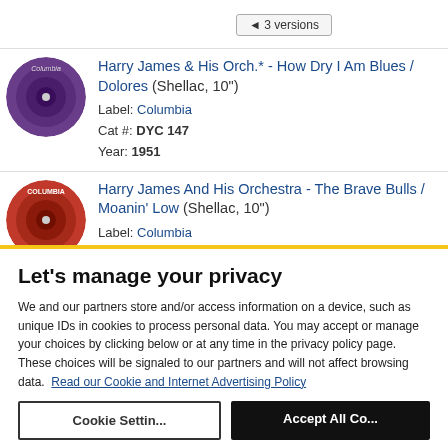◄ 3 versions
Harry James & His Orch.* - How Dry I Am Blues / Dolores (Shellac, 10") Label: Columbia Cat #: DYC 147 Year: 1951
Harry James And His Orchestra - The Brave Bulls / Moanin' Low (Shellac, 10") Label: Columbia
Let's manage your privacy
We and our partners store and/or access information on a device, such as unique IDs in cookies to process personal data. You may accept or manage your choices by clicking below or at any time in the privacy policy page. These choices will be signaled to our partners and will not affect browsing data. Read our Cookie and Internet Advertising Policy
Cookie Settings | Accept All Cookies